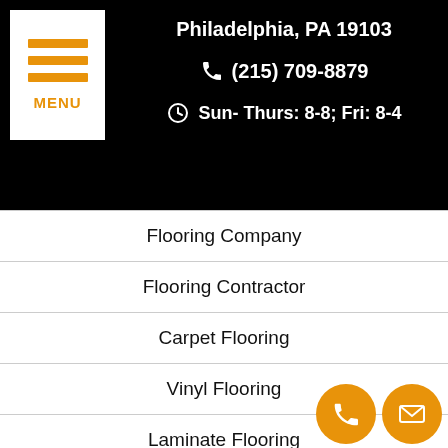Philadelphia, PA 19103 | (215) 709-8879 | Sun- Thurs: 8-8; Fri: 8-4
Flooring Company
Flooring Contractor
Carpet Flooring
Vinyl Flooring
Laminate Flooring
Hardwood Flooring
Floor Installation
Reviews & Testimonials
Privacy Policy